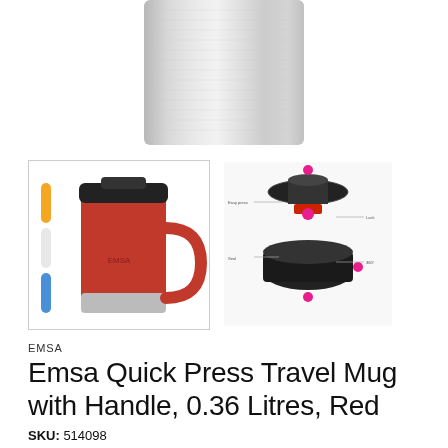[Figure (photo): Top portion of a silver/stainless steel travel mug, cropped, showing brushed metal surface on white background]
[Figure (photo): Thumbnail image of Emsa Quick Press Travel Mug with Handle in red color with black lid, alongside a small color indicator icon]
[Figure (photo): Exploded/diagram view of the mug's lid mechanism with labeled parts and pink/red highlight dots]
EMSA
Emsa Quick Press Travel Mug with Handle, 0.36 Litres, Red
SKU: 514098
Barcode: 4009049367170
£18.24 GBP   Sold out